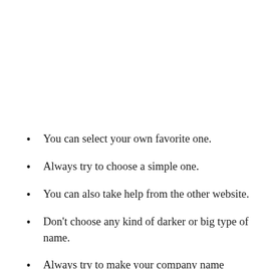You can select your own favorite one.
Always try to choose a simple one.
You can also take help from the other website.
Don't choose any kind of darker or big type of name.
Always try to make your company name simple as possible.
Don't …